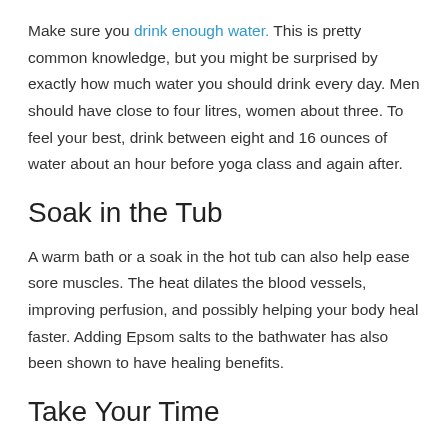Make sure you drink enough water. This is pretty common knowledge, but you might be surprised by exactly how much water you should drink every day. Men should have close to four litres, women about three. To feel your best, drink between eight and 16 ounces of water about an hour before yoga class and again after.
Soak in the Tub
A warm bath or a soak in the hot tub can also help ease sore muscles. The heat dilates the blood vessels, improving perfusion, and possibly helping your body heal faster. Adding Epsom salts to the bathwater has also been shown to have healing benefits.
Take Your Time
If you're experiencing muscle soreness from an intense workout, take a break the next day. It's okay to take the day off from exercise if you have to, or you can choose to do something less